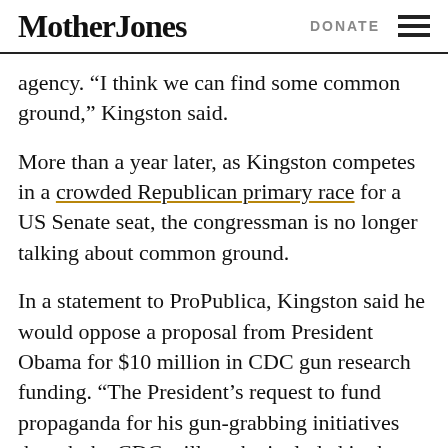Mother Jones   DONATE
agency. “I think we can find some common ground,” Kingston said.
More than a year later, as Kingston competes in a crowded Republican primary race for a US Senate seat, the congressman is no longer talking about common ground.
In a statement to ProPublica, Kingston said he would oppose a proposal from President Obama for $10 million in CDC gun research funding. “The President’s request to fund propaganda for his gun-grabbing initiatives though the CDC will not be included in the FY2015 appropriations bill,” Kingston said.